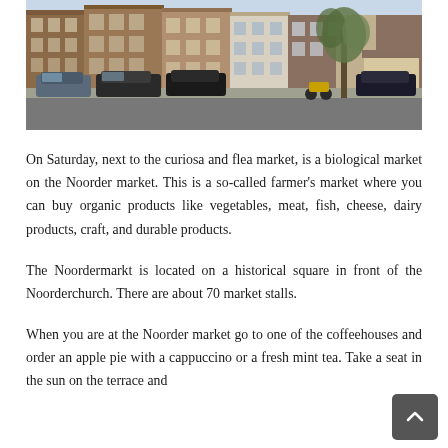[Figure (photo): Street-level photograph of Amsterdam canal houses with parked cars along the street, trees visible on the right side. Red-brick multi-story Dutch buildings with large windows.]
On Saturday, next to the curiosa and flea market, is a biological market on the Noorder market. This is a so-called farmer's market where you can buy organic products like vegetables, meat, fish, cheese, dairy products, craft, and durable products.
The Noordermarkt is located on a historical square in front of the Noorderchurch. There are about 70 market stalls.
When you are at the Noorder market go to one of the coffeehouses and order an apple pie with a cappuccino or a fresh mint tea. Take a seat in the sun on the terrace and